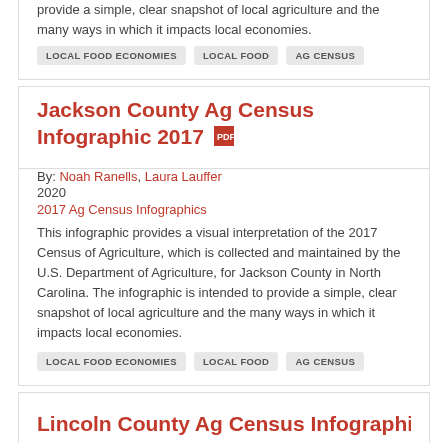provide a simple, clear snapshot of local agriculture and the many ways in which it impacts local economies.
LOCAL FOOD ECONOMIES
LOCAL FOOD
AG CENSUS
Jackson County Ag Census Infographic 2017
By: Noah Ranells, Laura Lauffer
2020
2017 Ag Census Infographics
This infographic provides a visual interpretation of the 2017 Census of Agriculture, which is collected and maintained by the U.S. Department of Agriculture, for Jackson County in North Carolina. The infographic is intended to provide a simple, clear snapshot of local agriculture and the many ways in which it impacts local economies.
LOCAL FOOD ECONOMIES
LOCAL FOOD
AG CENSUS
Lincoln County Ag Census Infographic